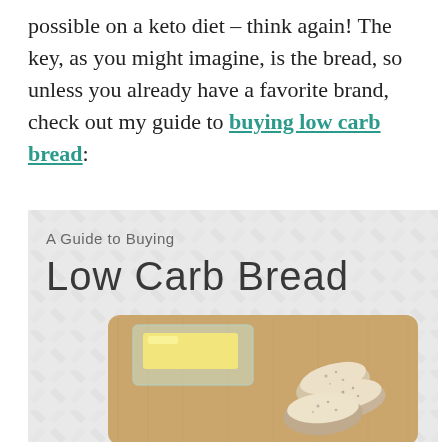possible on a keto diet – think again! The key, as you might imagine, is the bread, so unless you already have a favorite brand, check out my guide to buying low carb bread:
[Figure (photo): A photo guide image titled 'A Guide to Buying Low Carb Bread' showing a wooden cutting board with sliced bread and a butter dish containing a stick of butter, set against a white herringbone tile background.]